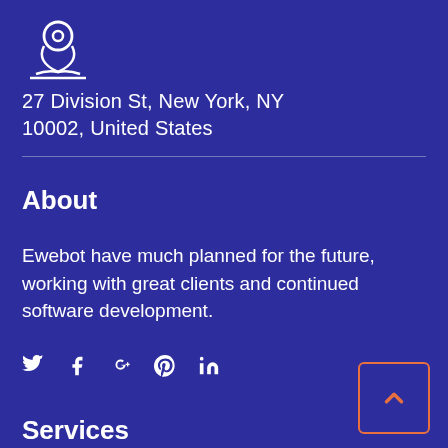[Figure (illustration): Location pin / map marker icon, white outline style, shown above address]
27 Division St, New York, NY
10002, United States
About
Ewebot have much planned for the future, working with great clients and continued software development.
[Figure (illustration): Social media icons row: Twitter, Facebook, Google+, Pinterest, LinkedIn]
Services